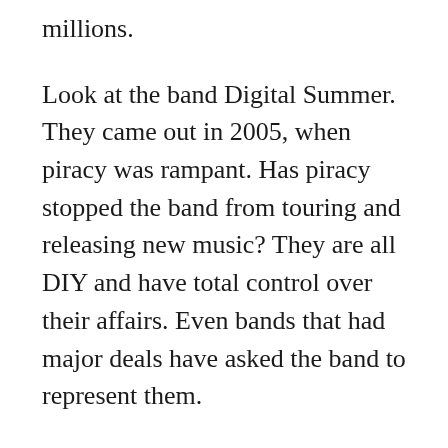millions.
Look at the band Digital Summer. They came out in 2005, when piracy was rampant. Has piracy stopped the band from touring and releasing new music? They are all DIY and have total control over their affairs. Even bands that had major deals have asked the band to represent them.
Look at the band One Less Reason. Another DIY band. One of their albums has gone GOLD. Has piracy stopped the band from touring and releasing new music?